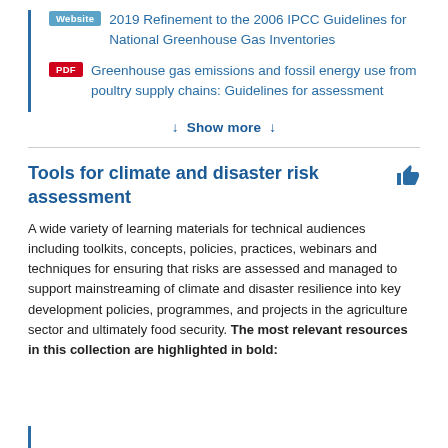Website  2019 Refinement to the 2006 IPCC Guidelines for National Greenhouse Gas Inventories
PDF  Greenhouse gas emissions and fossil energy use from poultry supply chains: Guidelines for assessment
↓ Show more ↓
Tools for climate and disaster risk assessment
A wide variety of learning materials for technical audiences including toolkits, concepts, policies, practices, webinars and techniques for ensuring that risks are assessed and managed to support mainstreaming of climate and disaster resilience into key development policies, programmes, and projects in the agriculture sector and ultimately food security. The most relevant resources in this collection are highlighted in bold: